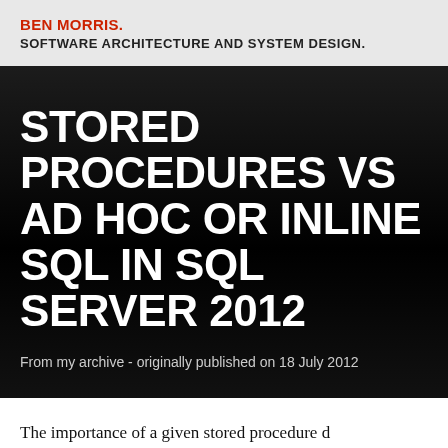BEN MORRIS. SOFTWARE ARCHITECTURE AND SYSTEM DESIGN.
STORED PROCEDURES VS AD HOC OR INLINE SQL IN SQL SERVER 2012
From my archive - originally published on 18 July 2012
The importance of a given stored procedure d